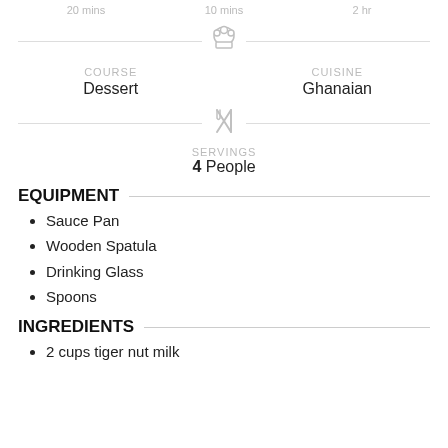COURSE
Dessert
CUISINE
Ghanaian
SERVINGS
4 People
EQUIPMENT
Sauce Pan
Wooden Spatula
Drinking Glass
Spoons
INGREDIENTS
2 cups tiger nut milk